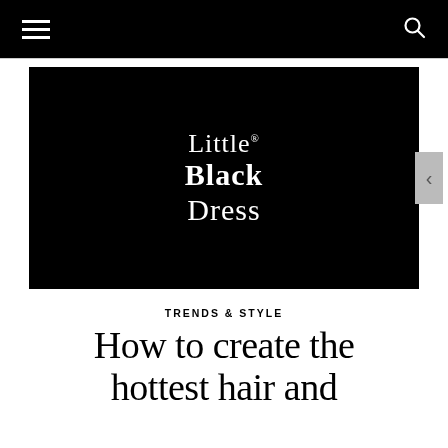Navigation bar with hamburger menu and search icon
[Figure (logo): Little Black Dress logo on black background video thumbnail]
TRENDS & STYLE
How to create the hottest hair and